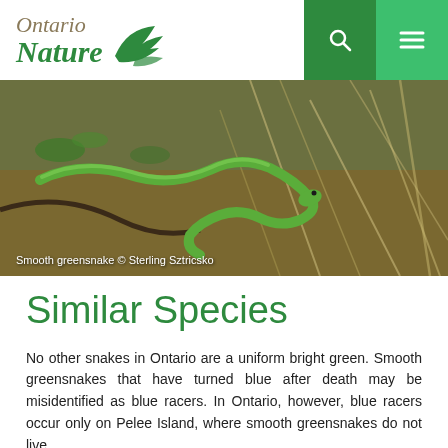[Figure (logo): Ontario Nature logo with green bird/wing graphic]
[Figure (photo): Smooth greensnake coiled among grass and straw on forest floor. Caption: Smooth greensnake © Sterling Sztricsko]
Smooth greensnake © Sterling Sztricsko
Similar Species
No other snakes in Ontario are a uniform bright green. Smooth greensnakes that have turned blue after death may be misidentified as blue racers. In Ontario, however, blue racers occur only on Pelee Island, where smooth greensnakes do not live.